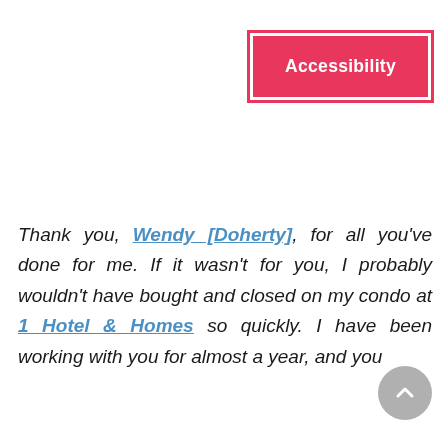[Figure (other): Accessibility button — a pink/red rectangular button with white bold text reading 'Accessibility', with a matching pink border outline]
Thank you, Wendy [Doherty], for all you've done for me. If it wasn't for you, I probably wouldn't have bought and closed on my condo at 1 Hotel & Homes so quickly. I have been working with you for almost a year, and you been there every step of the way. You are quick, articulate